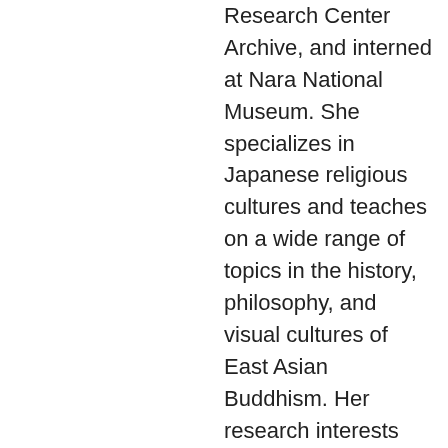Research Center Archive, and interned at Nara National Museum. She specializes in Japanese religious cultures and teaches on a wide range of topics in the history, philosophy, and visual cultures of East Asian Buddhism. Her research interests center on the manipulable sacred relationship between form and content, both material and immaterial, and this informs two current,